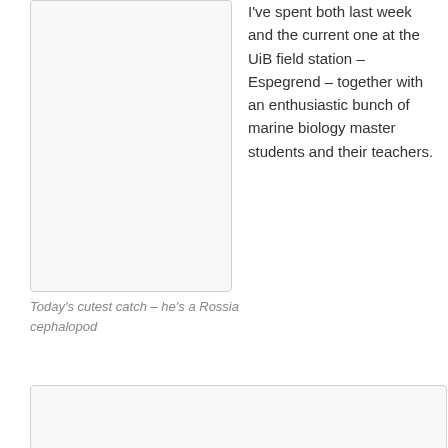[Figure (photo): Photo placeholder — left column image, appears to be a marine biology field station catch photo]
I've spent both last week and the current one at the UiB field station – Espegrend – together with an enthusiastic bunch of marine biology master students and their teachers.
Today's cutest catch – he's a Rossia cephalopod
[Figure (photo): Photo placeholder — full-width bottom image, marine biology related]